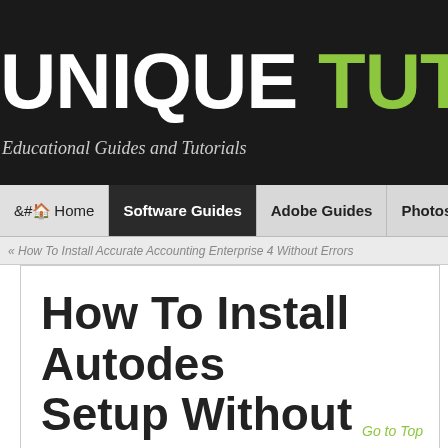UNIQUE TUTORIALS — Educational Guides and Tutorials
[Figure (screenshot): Website navigation bar with Home, Software Guides (active), Adobe Guides, Photoshop menu items]
« How To Install Accurate Accounting Enterprise 4 Without Errors
How To Install Autodesk Setup Without Errors
Go to Top